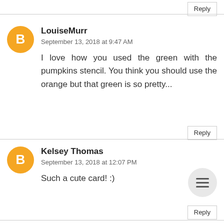Reply
LouiseMurr
September 13, 2018 at 9:47 AM
I love how you used the green with the pumpkins stencil. You think you should use the orange but that green is so pretty...
Reply
Kelsey Thomas
September 13, 2018 at 12:07 PM
Such a cute card! :)
Reply